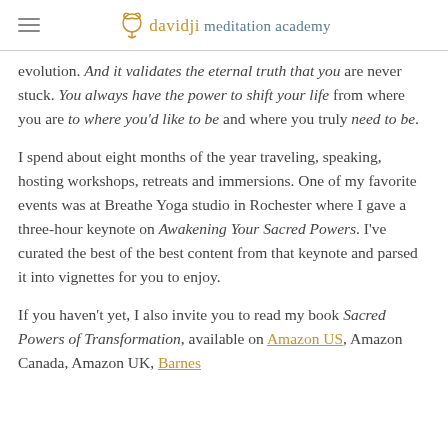davidji meditation academy
evolution. And it validates the eternal truth that you are never stuck. You always have the power to shift your life from where you are to where you'd like to be and where you truly need to be.
I spend about eight months of the year traveling, speaking, hosting workshops, retreats and immersions. One of my favorite events was at Breathe Yoga studio in Rochester where I gave a three-hour keynote on Awakening Your Sacred Powers. I've curated the best of the best content from that keynote and parsed it into vignettes for you to enjoy.
If you haven't yet, I also invite you to read my book Sacred Powers of Transformation, available on Amazon US, Amazon Canada, Amazon UK, Barnes